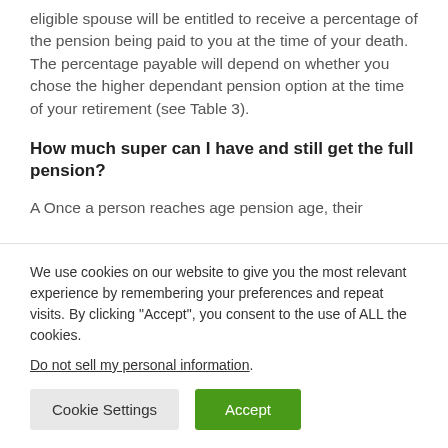eligible spouse will be entitled to receive a percentage of the pension being paid to you at the time of your death. The percentage payable will depend on whether you chose the higher dependant pension option at the time of your retirement (see Table 3).
How much super can I have and still get the full pension?
A Once a person reaches age pension age, their
We use cookies on our website to give you the most relevant experience by remembering your preferences and repeat visits. By clicking “Accept”, you consent to the use of ALL the cookies.
Do not sell my personal information.